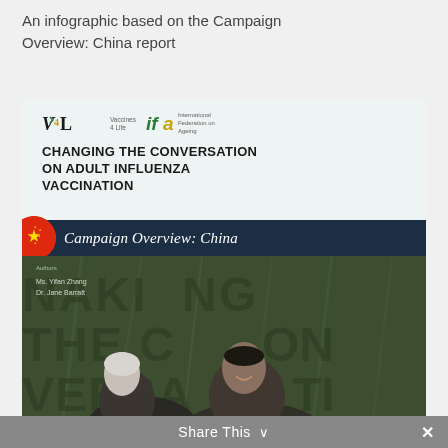An infographic based on the Campaign Overview: China report
[Figure (illustration): Cover image of the 'Changing the Conversation on Adult Influenza Vaccination – Campaign Overview: China' report, featuring the V4L and IFA logos, title text, China flag circle, and a photo of two elderly people (an older woman and man smiling) with watermark text overlay on a green/tree background.]
Share This ∨  ✕